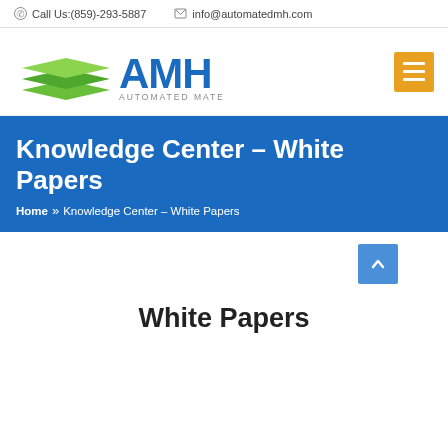Call Us:(859)-293-5887  info@automatedmh.com
[Figure (logo): AMH - Automated Material Handling logo with green stacked layers icon and blue AMH text]
Knowledge Center – White Papers
Home » Knowledge Center – White Papers
White Papers